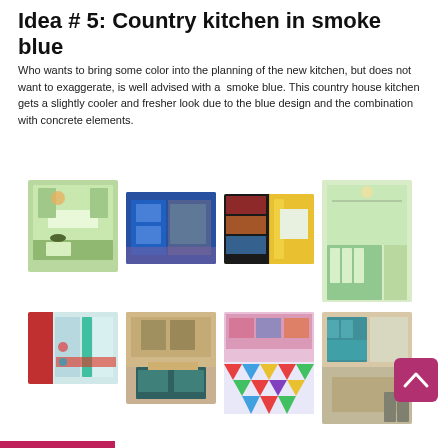Idea # 5: Country kitchen in smoke blue
Who wants to bring some color into the planning of the new kitchen, but does not want to exaggerate, is well advised with a  smoke blue. This country house kitchen gets a slightly cooler and fresher look due to the blue design and the combination with concrete elements.
[Figure (photo): Grid of 8 colorful kitchen photos arranged in two rows of four]
[Figure (other): Scroll-to-top button (dark pink/maroon rounded square with up arrow)]